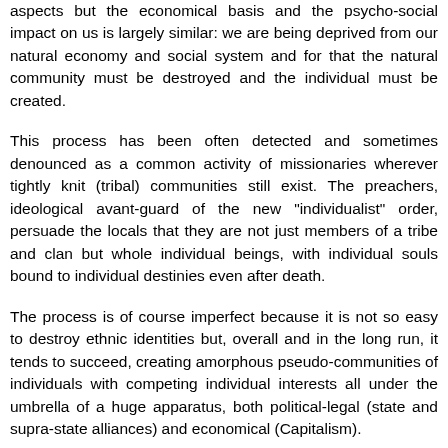aspects but the economical basis and the psycho-social impact on us is largely similar: we are being deprived from our natural economy and social system and for that the natural community must be destroyed and the individual must be created.
This process has been often detected and sometimes denounced as a common activity of missionaries wherever tightly knit (tribal) communities still exist. The preachers, ideological avant-guard of the new "individualist" order, persuade the locals that they are not just members of a tribe and clan but whole individual beings, with individual souls bound to individual destinies even after death.
The process is of course imperfect because it is not so easy to destroy ethnic identities but, overall and in the long run, it tends to succeed, creating amorphous pseudo-communities of individuals with competing individual interests all under the umbrella of a huge apparatus, both political-legal (state and supra-state alliances) and economical (Capitalism).
Unlike in a natural communist society, such as those that can